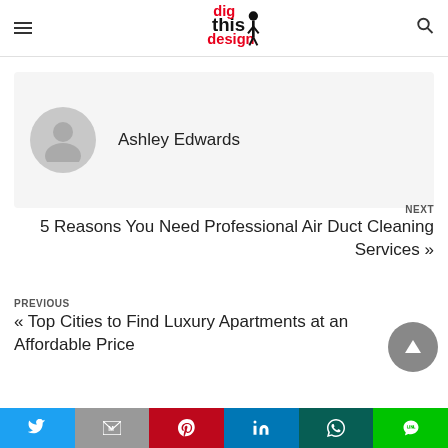Dig This Design
Ashley Edwards
NEXT
5 Reasons You Need Professional Air Duct Cleaning Services »
PREVIOUS
« Top Cities to Find Luxury Apartments at an Affordable Price